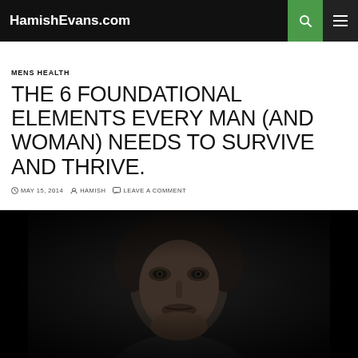HamishEvans.com
MENS HEALTH
THE 6 FOUNDATIONAL ELEMENTS EVERY MAN (AND WOMAN) NEEDS TO SURVIVE AND THRIVE.
MAY 15, 2014  HAMISH  LEAVE A COMMENT
[Figure (photo): Close-up portrait photo of a man with short dark hair against a very dark background, looking intensely at the camera]